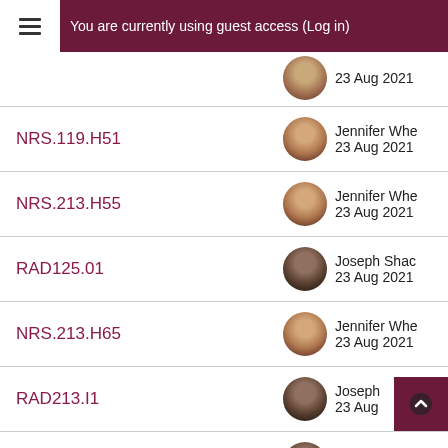You are currently using guest access (Log in)
NRS.119.H51 | Jennifer Whe... | 23 Aug 2021
NRS.213.H55 | Jennifer Whe... | 23 Aug 2021
RAD125.01 | Joseph Shac... | 23 Aug 2021
NRS.213.H65 | Jennifer Whe... | 23 Aug 2021
RAD213.I1 | Joseph... | 23 Aug...
RAD212.01 | Joseph Shac... | 23 Aug 2021
(partial row at bottom)